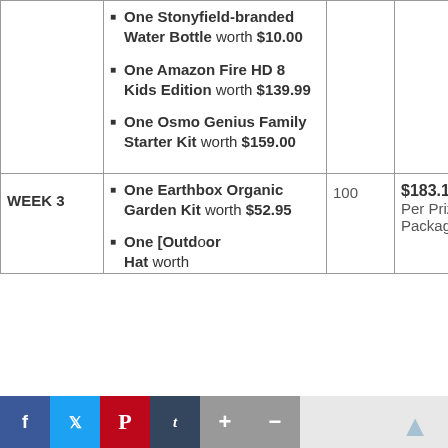| Week | Prize | Quantity | Value |
| --- | --- | --- | --- |
|  | One Stonyfield-branded Water Bottle worth $10.00; One Amazon Fire HD 8 Kids Edition worth $139.99; One Osmo Genius Family Starter Kit worth $159.00 |  |  |
| WEEK 3 | One Earthbox Organic Garden Kit worth $52.95; One [Outdoor] Hat worth | 100 | $183.18 Per Prize Package |